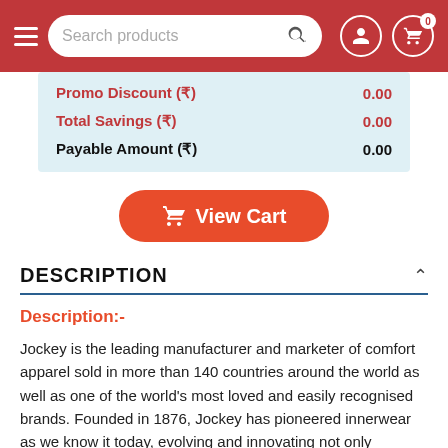[Figure (screenshot): Red navigation bar with hamburger menu, search box with 'Search products' placeholder and magnifier icon, user account icon, and shopping cart icon with badge showing 0]
| Promo Discount (₹) | 0.00 |
| Total Savings (₹) | 0.00 |
| Payable Amount (₹) | 0.00 |
View Cart
DESCRIPTION
Description:-
Jockey is the leading manufacturer and marketer of comfort apparel sold in more than 140 countries around the world as well as one of the world's most loved and easily recognised brands. Founded in 1876, Jockey has pioneered innerwear as we know it today, evolving and innovating not only products, but also the way it has been